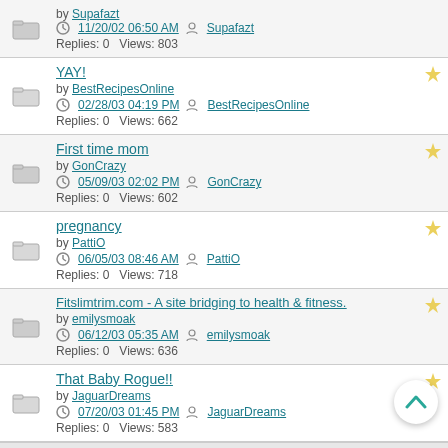by Supafazt | 11/20/02 06:50 AM | Supafazt | Replies: 0  Views: 803
YAY! by BestRecipesOnline | 02/28/03 04:19 PM | BestRecipesOnline | Replies: 0  Views: 662
First time mom by GonCrazy | 05/09/03 02:02 PM | GonCrazy | Replies: 0  Views: 602
pregnancy by PattiO | 06/05/03 08:46 AM | PattiO | Replies: 0  Views: 718
Fitslimtrim.com - A site bridging to health & fitness. by emilysmoak | 06/12/03 05:35 AM | emilysmoak | Replies: 0  Views: 636
That Baby Rogue!! by JaguarDreams | 07/20/03 01:45 PM | JaguarDreams | Replies: 0  Views: 583
Page 1 of 35  1  2  3  ...  34  35  >